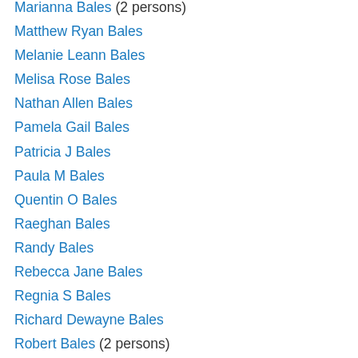Marianna Bales (2 persons)
Matthew Ryan Bales
Melanie Leann Bales
Melisa Rose Bales
Nathan Allen Bales
Pamela Gail Bales
Patricia J Bales
Paula M Bales
Quentin O Bales
Raeghan Bales
Randy Bales
Rebecca Jane Bales
Regnia S Bales
Richard Dewayne Bales
Robert Bales (2 persons)
Rochelle Lafern Bales
Roman Dimitre-Ray Bales
Ronald Joshua Bales